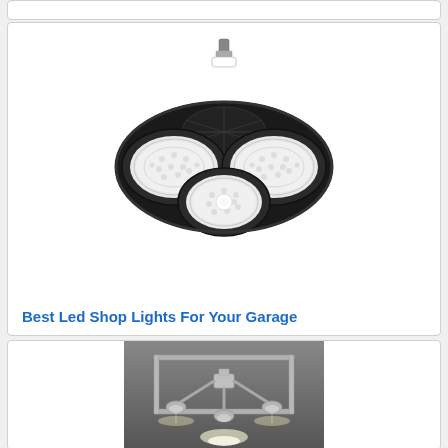[Figure (photo): Partial view of a card at the very top of the page, mostly cut off]
[Figure (photo): LED shop light with three circular panels arranged in a triangular pattern, mounted on a central hub with a bulb socket on top, black frame, white LED panels]
Best Led Shop Lights For Your Garage
[Figure (photo): Track lighting fixture mounted on ceiling, brushed nickel finish, multiple adjustable spotlights on a square frame, garage or workshop setting]